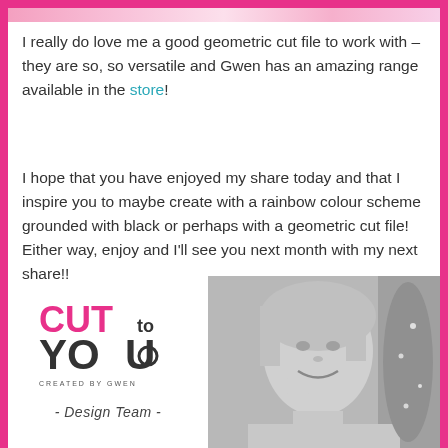[Figure (photo): Partial view of a colorful craft/scrapbook project at the top of the page]
I really do love me a good geometric cut file to work with – they are so, so versatile and Gwen has an amazing range available in the store!
I hope that you have enjoyed my share today and that I inspire you to maybe create with a rainbow colour scheme grounded with black or perhaps with a geometric cut file! Either way, enjoy and I'll see you next month with my next share!!
[Figure (logo): Cut to You - Created by Gwen logo in pink and black]
- Design Team -
[Figure (photo): Black and white photo of a smiling blonde woman]